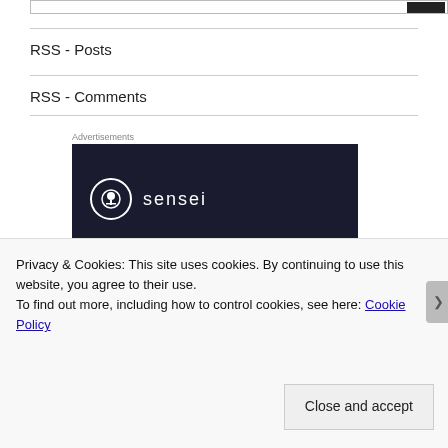RSS - Posts
RSS - Comments
Advertisements
[Figure (logo): Sensei brand logo: white circle with bonsai tree icon and 'sensei' text on dark navy background]
Privacy & Cookies: This site uses cookies. By continuing to use this website, you agree to their use.
To find out more, including how to control cookies, see here: Cookie Policy
Close and accept